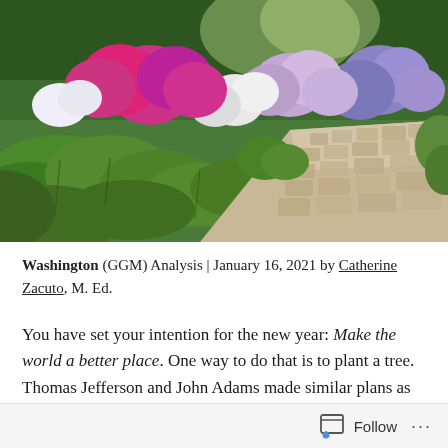[Figure (photo): A lush garden path lined with colorful hydrangea flowers in pink, white, and purple/blue shades, with large green hosta leaves in the foreground, and a cobblestone path leading through the garden.]
Washington (GGM) Analysis | January 16, 2021 by Catherine Zacuto, M. Ed.
You have set your intention for the new year: Make the world a better place. One way to do that is to plant a tree. Thomas Jefferson and John Adams made similar plans as
Follow ...